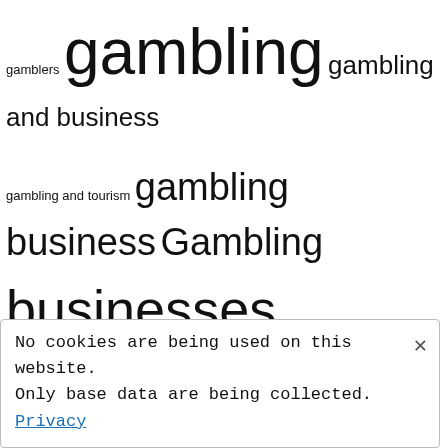[Figure (infographic): Tag cloud featuring gambling and casino related terms in varying font sizes. Terms include: gamblers, gambling, gambling and business, gambling and tourism, gambling business, Gambling businesses, gambling poker, gaming skill, IGaming in Malta, Integrated Resort, Casinos, internet-based casinos, legal framework, online, casino, online casinos, online gambling, online gambling business, online gaming, online poker, Playing skills, Protoc9ls and Regulatory Requirements for Online Rummy Business, Recovery of Tourism Industry, regulations, Rummy a Game of Skill, Rummy Online Bussiness, slot games, slot machines, social experience, South Korea's eSports]
No cookies are being used on this website. Only base data are being collected. Privacy